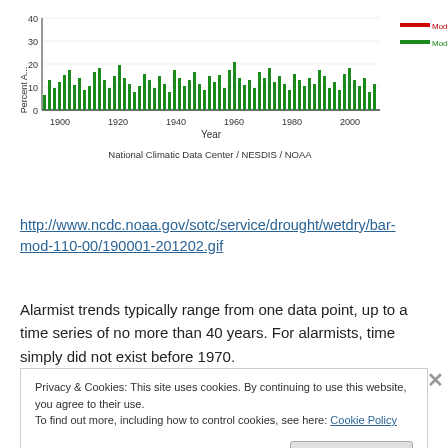[Figure (continuous-plot): Bar chart showing Percent Area from 1900 to ~2012 with two datasets: Moderate-Extreme Drought (red, top) and Moderate-Extreme Wet (green, bottom). Y-axis labeled 'Percent A...' with values 0-40. X-axis shows years 1900, 1920, 1940, 1960, 1980, 2000. Legend shows red and green color bands. Caption: National Climatic Data Center / NESDIS / NOAA]
http://www.ncdc.noaa.gov/sotc/service/drought/wetdry/bar-mod-110-00/190001-201202.gif
Alarmist trends typically range from one data point, up to a time series of no more than 40 years. For alarmists, time simply did not exist before 1970.
Privacy & Cookies: This site uses cookies. By continuing to use this website, you agree to their use.
To find out more, including how to control cookies, see here: Cookie Policy
Close and accept